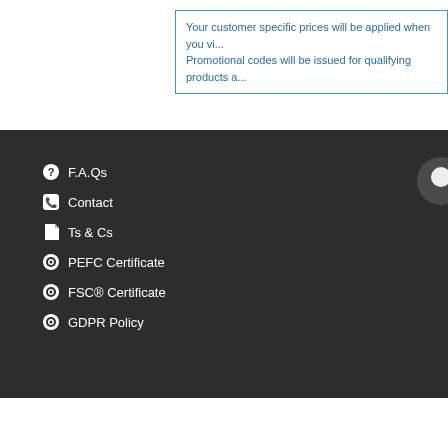Your customer specific prices will be applied when you vi... Promotional codes will be issued for qualifying products a...
F.A.Qs
Contact
Ts & Cs
PEFC Certificate
FSC® Certificate
GDPR Policy